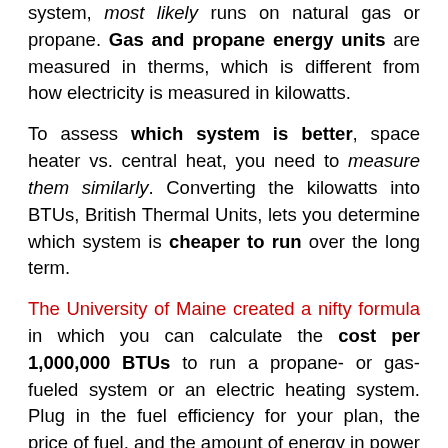system, most likely runs on natural gas or propane. Gas and propane energy units are measured in therms, which is different from how electricity is measured in kilowatts.
To assess which system is better, space heater vs. central heat, you need to measure them similarly. Converting the kilowatts into BTUs, British Thermal Units, lets you determine which system is cheaper to run over the long term.
The University of Maine created a nifty formula in which you can calculate the cost per 1,000,000 BTUs to run a propane- or gas-fueled system or an electric heating system. Plug in the fuel efficiency for your plan, the price of fuel, and the amount of energy in power you use, and you will be able to calculate how much you pay for heat.
If you only need to heat one room of your home, then a space heater will be less expensive to run than the entire heating system. However, if you have many rooms in your house to heat, then heating your home in this manner